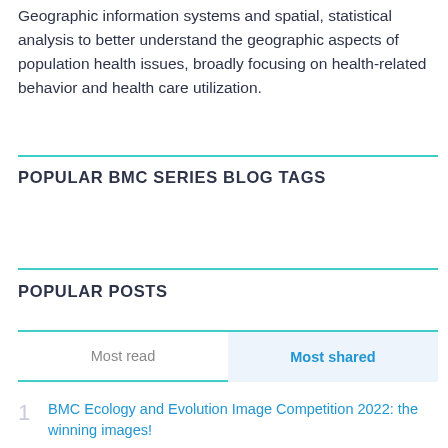Geographic information systems and spatial, statistical analysis to better understand the geographic aspects of population health issues, broadly focusing on health-related behavior and health care utilization.
POPULAR BMC SERIES BLOG TAGS
POPULAR POSTS
Most read	Most shared
1  BMC Ecology and Evolution Image Competition 2022: the winning images!